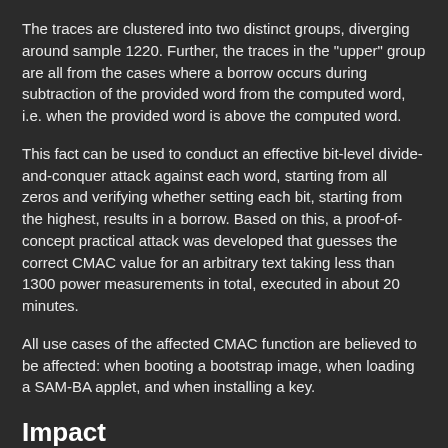The traces are clustered into two distinct groups, diverging around sample 1220. Further, the traces in the "upper" group are all from the cases where a borrow occurs during subtraction of the provided word from the computed word, i.e. when the provided word is above the computed word.
This fact can be used to conduct an effective bit-level divide-and-conquer attack against each word, starting from all zeros and verifying whether setting each bit, starting from the highest, results in a borrow. Based on this, a proof-of-concept practical attack was developed that guesses the correct CMAC value for an arbitrary text taking less than 1300 power measurements in total, executed in about 20 minutes.
All use cases of the affected CMAC function are believed to be affected: when booting a bootstrap image, when loading a SAM-BA applet, and when installing a key.
Impact
An attacker with physical access is able to infer correctness of guesses against a valid CMAC code by observing power consumption of the SoC. Ultimately, this allows the attacker to